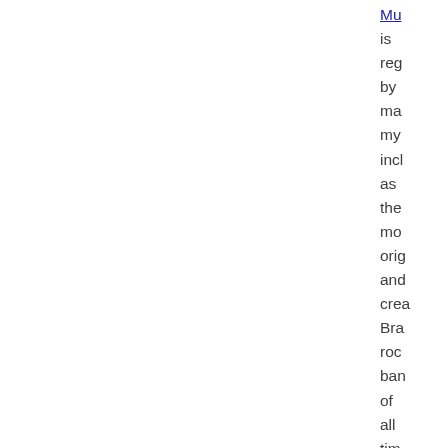Mu is rega by ma my: incl as the mo: orig and crea Bra roc ban of all tim The orig me we